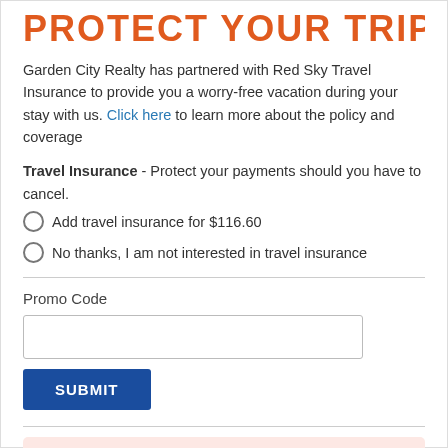PROTECT YOUR TRIP
Garden City Realty has partnered with Red Sky Travel Insurance to provide you a worry-free vacation during your stay with us. Click here to learn more about the policy and coverage
Travel Insurance - Protect your payments should you have to cancel.
Add travel insurance for $116.60
No thanks, I am not interested in travel insurance
Promo Code
SUBMIT
Your Information is 100% Secure